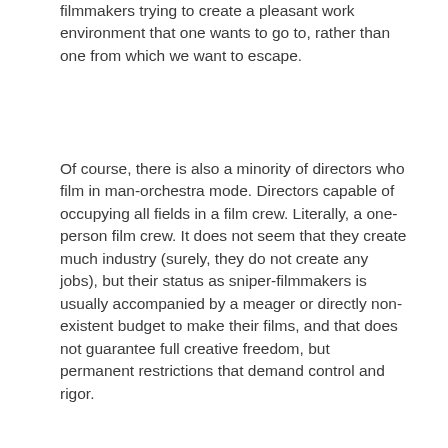filmmakers trying to create a pleasant work environment that one wants to go to, rather than one from which we want to escape.
Of course, there is also a minority of directors who film in man-orchestra mode. Directors capable of occupying all fields in a film crew. Literally, a one-person film crew. It does not seem that they create much industry (surely, they do not create any jobs), but their status as sniper-filmmakers is usually accompanied by a meager or directly non-existent budget to make their films, and that does not guarantee full creative freedom, but permanent restrictions that demand control and rigor.